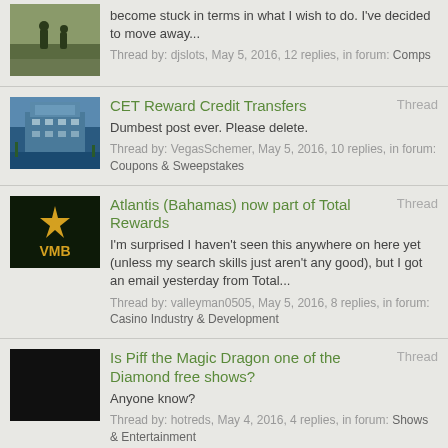become stuck in terms in what I wish to do. I've decided to move away... Thread by: djslots, May 5, 2016, 12 replies, in forum: Comps
CET Reward Credit Transfers Thread Dumbest post ever. Please delete. Thread by: VegasSchemer, May 5, 2016, 10 replies, in forum: Coupons & Sweepstakes
Atlantis (Bahamas) now part of Total Rewards Thread I'm surprised I haven't seen this anywhere on here yet (unless my search skills just aren't any good), but I got an email yesterday from Total... Thread by: valleyman0505, May 5, 2016, 8 replies, in forum: Casino Industry & Development
Is Piff the Magic Dragon one of the Diamond free shows? Thread Anyone know? Thread by: hotreds, May 4, 2016, 4 replies, in forum: Shows & Entertainment
CET Diamond or MGM Platinum? Thread If I focus my play the rest of the year, I can make one of the above, but not both. I'm leaning towards playing at MGM properties, but